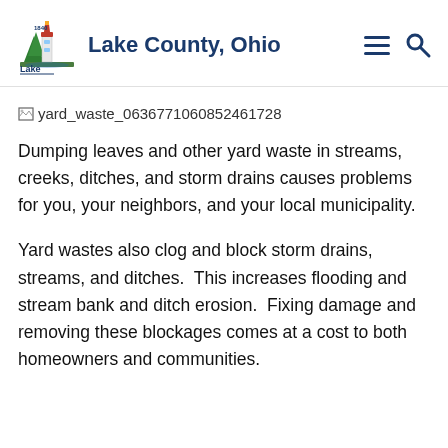Lake County, Ohio
[Figure (other): Broken image placeholder showing filename: yard_waste_0636771060852461728]
Dumping leaves and other yard waste in streams, creeks, ditches, and storm drains causes problems for you, your neighbors, and your local municipality.
Yard wastes also clog and block storm drains, streams, and ditches.  This increases flooding and stream bank and ditch erosion.  Fixing damage and removing these blockages comes at a cost to both homeowners and communities.